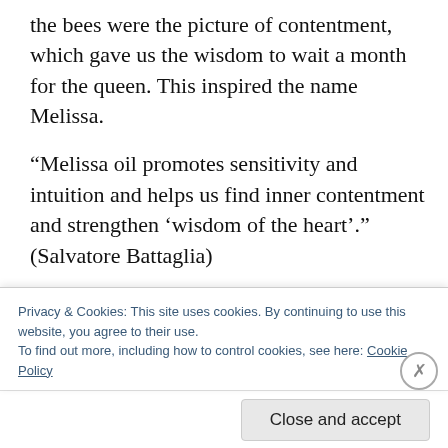the bees were the picture of contentment, which gave us the wisdom to wait a month for the queen. This inspired the name Melissa.
“Melissa oil promotes sensitivity and intuition and helps us find inner contentment and strengthen ‘wisdom of the heart’.” (Salvatore Battaglia)
The sweet blossomy lemony fragrance of melissa suits our light golden honey very well. The name Melissa is from the Greek ‘bee’ indicating the attractiveness bees feel towards the plant. A perfect name for the queen who continues the
Privacy & Cookies: This site uses cookies. By continuing to use this website, you agree to their use.
To find out more, including how to control cookies, see here: Cookie Policy
Close and accept